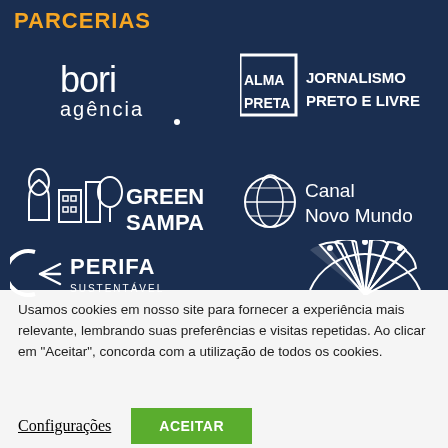PARCERIAS
[Figure (logo): bori agência logo in white on dark blue background]
[Figure (logo): Alma Preta Jornalismo Preto e Livre logo in white on dark blue background]
[Figure (logo): Green Sampa logo with tree/building icons in white on dark blue background]
[Figure (logo): Canal Novo Mundo logo with globe icon in white on dark blue background]
[Figure (logo): Perifa Sustentável logo in white on dark blue background]
[Figure (logo): Partial logo on right side, white semicircle/fan shape on dark blue background]
Usamos cookies em nosso site para fornecer a experiência mais relevante, lembrando suas preferências e visitas repetidas. Ao clicar em "Aceitar", concorda com a utilização de todos os cookies.
Configurações
ACEITAR